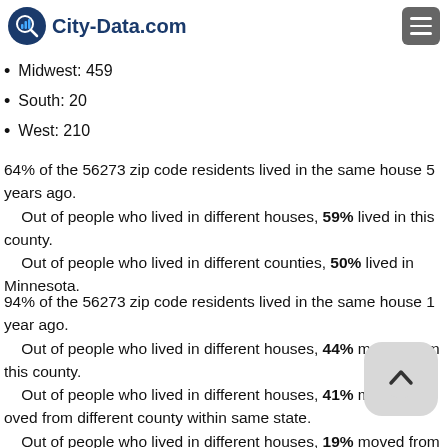City-Data.com
This state: 4,182
Midwest: 459
South: 20
West: 210
64% of the 56273 zip code residents lived in the same house 5 years ago.
    Out of people who lived in different houses, 59% lived in this county.
    Out of people who lived in different counties, 50% lived in Minnesota.
94% of the 56273 zip code residents lived in the same house 1 year ago.
    Out of people who lived in different houses, 44% moved from this county.
    Out of people who lived in different houses, 41% moved from different county within same state.
    Out of people who lived in different houses, 19% moved from different state.